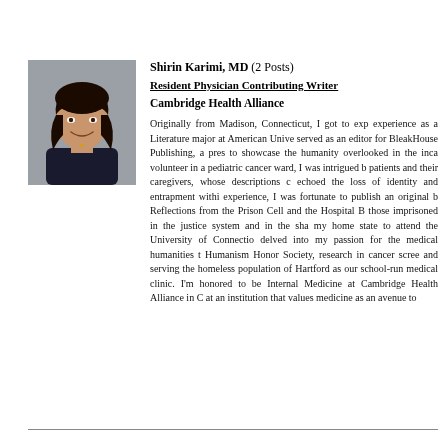[Figure (photo): Headshot photo of Shirin Karimi, MD — a woman with long dark hair, smiling, wearing a dark blazer, against a grey background.]
Shirin Karimi, MD (2 Posts)
Resident Physician Contributing Writer
Cambridge Health Alliance
Originally from Madison, Connecticut, I got to exp experience as a Literature major at American Unive served as an editor for BleakHouse Publishing, a pres to showcase the humanity overlooked in the inca volunteer in a pediatric cancer ward, I was intrigued b patients and their caregivers, whose descriptions c echoed the loss of identity and entrapment withi experience, I was fortunate to publish an original b Reflections from the Prison Cell and the Hospital B those imprisoned in the justice system and in the sha my home state to attend the University of Connectio delved into my passion for the medical humanities t Humanism Honor Society, research in cancer scree and serving the homeless population of Hartford as our school-run medical clinic. I'm honored to be Internal Medicine at Cambridge Health Alliance in C at an institution that values medicine as an avenue to